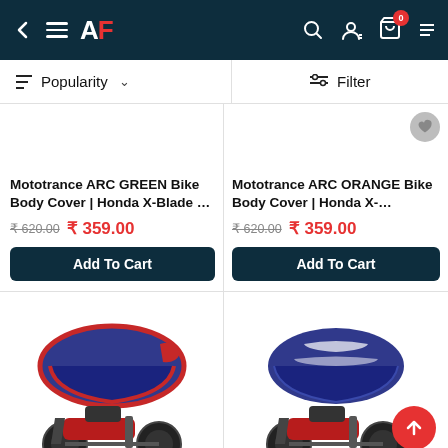AF — Navigation header with back, menu, logo, search, account, cart (0 items)
Popularity ∨   Filter
Mototrance ARC GREEN Bike Body Cover | Honda X-Blade …
₹ 620.00  ₹ 359.00
Add To Cart
Mototrance ARC ORANGE Bike Body Cover | Honda X-…
₹ 620.00  ₹ 359.00
Add To Cart
[Figure (photo): Navy blue and red motorcycle body cover displayed over a red Honda X-Blade motorcycle]
[Figure (photo): Navy blue and white striped motorcycle body cover displayed over a red Honda X-Blade motorcycle]